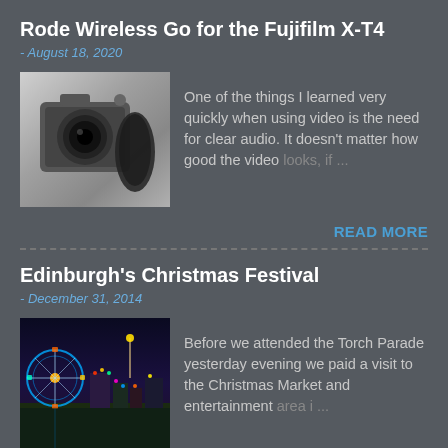Rode Wireless Go for the Fujifilm X-T4
- August 18, 2020
[Figure (photo): Black and white photo of a camera with microphone]
One of the things I learned very quickly when using video is the need for clear audio. It doesn't matter how good the video looks, if ...
READ MORE
Edinburgh's Christmas Festival
- December 31, 2014
[Figure (photo): Night photo of Edinburgh Christmas festival with ferris wheel and colorful lights]
Before we attended the Torch Parade yesterday evening we paid a visit to the Christmas Market and entertainment area i ...
READ MORE